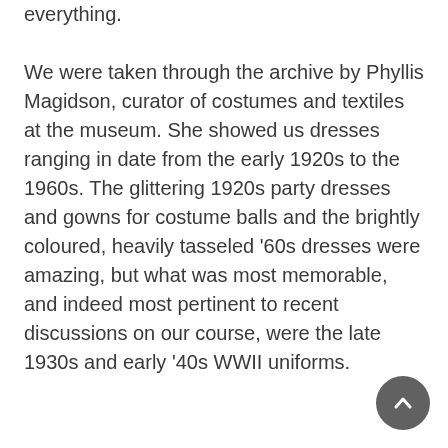everything.
We were taken through the archive by Phyllis Magidson, curator of costumes and textiles at the museum. She showed us dresses ranging in date from the early 1920s to the 1960s. The glittering 1920s party dresses and gowns for costume balls and the brightly coloured, heavily tasseled ’60s dresses were amazing, but what was most memorable, and indeed most pertinent to recent discussions on our course, were the late 1930s and early ’40s WWII uniforms.